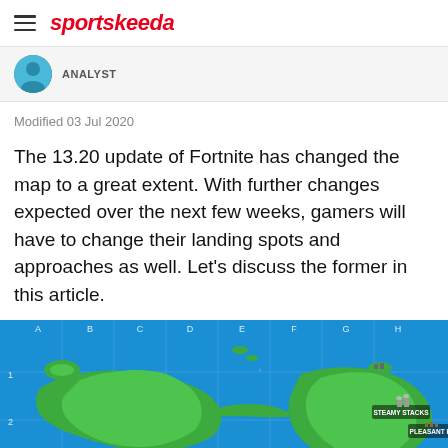sportskeeda
ANALYST
Modified 03 Jul 2020
The 13.20 update of Fortnite has changed the map to a great extent. With further changes expected over the next few weeks, gamers will have to change their landing spots and approaches as well. Let's discuss the former in this article.
[Figure (map): Fortnite game map showing locations including Pleasant Park and Steamy Stacks, with grid coordinates A-H along top and numbered rows, set against blue water background with green landmasses]